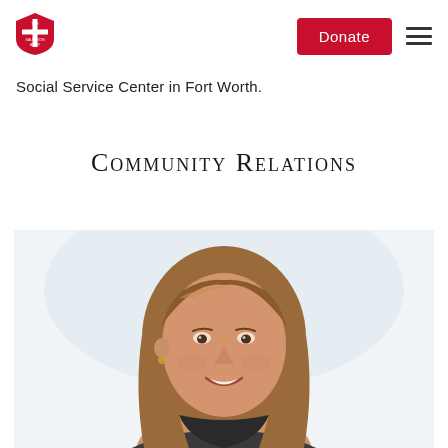[Figure (logo): The Salvation Army shield logo in red and white]
[Figure (other): Red Donate button and hamburger menu icon in header]
Social Service Center in Fort Worth.
Community Relations
[Figure (photo): Headshot of a smiling woman with shoulder-length brown hair against a light background]